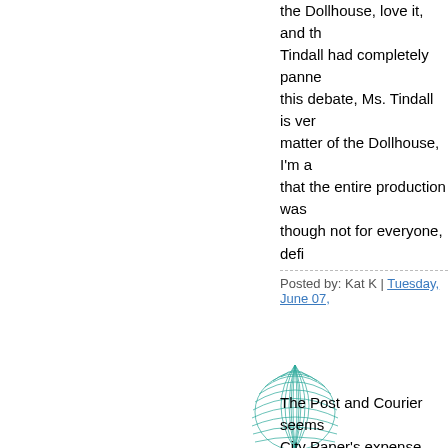the Dollhouse, love it, and th... Tindall had completely panne... this debate, Ms. Tindall is ver... matter of the Dollhouse, I'm a... that the entire production was... though not for everyone, defi...
Posted by: Kat K | Tuesday, June 07...
[Figure (illustration): Teal/green abstract circular mesh or grid pattern forming a dome-like shape on white background]
The Post and Courier seems... City Paper's expense this mo... all the many comments on th... named Steve M. who called C... "idiot" because she gave Doll... review last week. For Steve M... I'm posting a response here (... post getting reprinted as pro...
Hi Steve, you wondered on D... City Paper critic is that gave h... name is Jennifer Corley, and... earned her undergraduate de... Playwriting; she attended Oxt... studied Shakespeare and Iris...